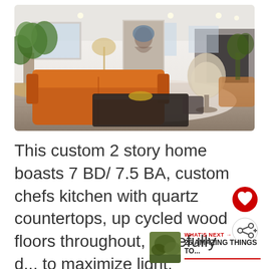[Figure (photo): Interior photo of a modern open-plan living room with an orange leather sofa, fiddle-leaf fig tree, egg chair, large portrait wall art, and wood floors]
This custom 2 story home boasts 7 BD/ 7.5 BA, custom chefs kitchen with quartz countertops, up cycled wood floors throughout, tastefully d... to maximize light, elegance and